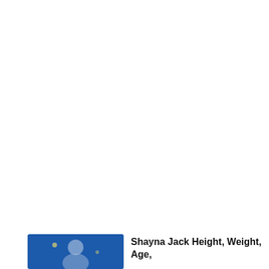Recent Articles
[Figure (photo): Thumbnail photo of Shayna Jack on a blue background]
Shayna Jack Height, Weight, Age,